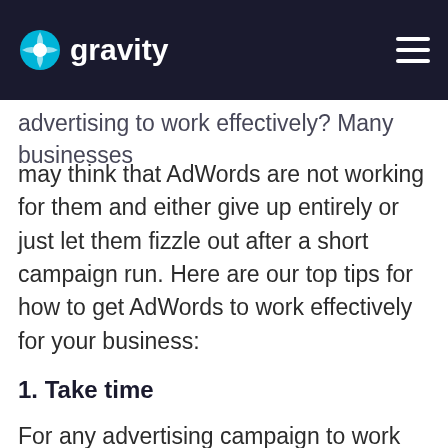Month: January 2018
advertising to work effectively? Many businesses may think that AdWords are not working for them and either give up entirely or just let them fizzle out after a short campaign run. Here are our top tips for how to get AdWords to work effectively for your business:
1. Take time
For any advertising campaign to work effectively, you need to spend time analysing results and reacting to engagements by users. We have found, from having spent much of our time getting the best value for money out of AdWords campaigns, that any time you can spend